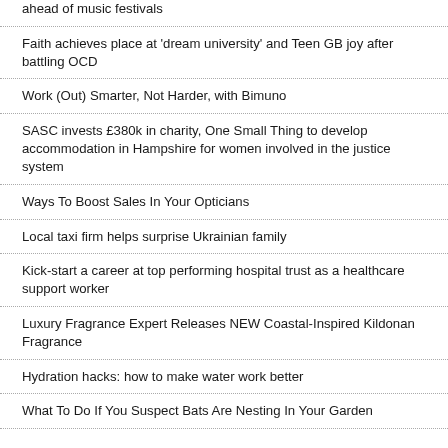ahead of music festivals
Faith achieves place at 'dream university' and Teen GB joy after battling OCD
Work (Out) Smarter, Not Harder, with Bimuno
SASC invests £380k in charity, One Small Thing to develop accommodation in Hampshire for women involved in the justice system
Ways To Boost Sales In Your Opticians
Local taxi firm helps surprise Ukrainian family
Kick-start a career at top performing hospital trust as a healthcare support worker
Luxury Fragrance Expert Releases NEW Coastal-Inspired Kildonan Fragrance
Hydration hacks: how to make water work better
What To Do If You Suspect Bats Are Nesting In Your Garden